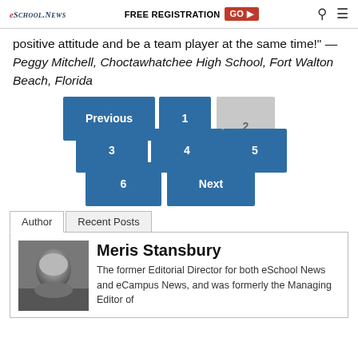eSchool News | FREE REGISTRATION GO ▶
positive attitude and be a team player at the same time!" — Peggy Mitchell, Choctawhatchee High School, Fort Walton Beach, Florida
[Figure (other): Pagination widget with buttons: Previous, 1, 2 (current/grayed), 3, 4, 5, 6, Next — stacked in a cascading layout with teal/blue buttons]
Author  Recent Posts
[Figure (photo): Black and white headshot photo of Meris Stansbury, a woman with blonde hair]
Meris Stansbury
The former Editorial Director for both eSchool News and eCampus News, and was formerly the Managing Editor of